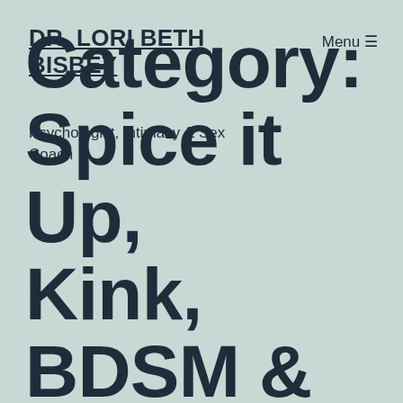DR. LORI BETH BISBEY
Psychologist, Intimacy & Sex Coach
Menu ≡
Category: Spice it Up, Kink, BDSM &